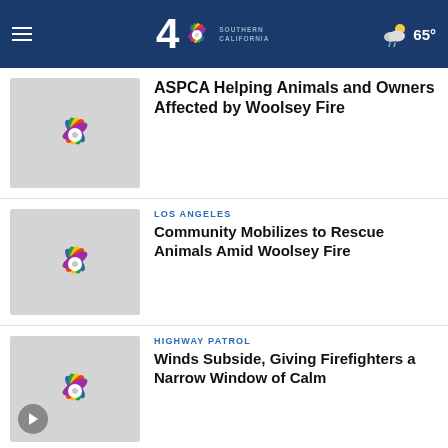NBC 4 Southern California | 65°
[Figure (screenshot): NBC logo thumbnail placeholder for ASPCA article]
ASPCA Helping Animals and Owners Affected by Woolsey Fire
[Figure (screenshot): NBC logo thumbnail placeholder for Community Mobilizes article]
LOS ANGELES
Community Mobilizes to Rescue Animals Amid Woolsey Fire
[Figure (screenshot): NBC logo thumbnail placeholder with play button for Winds Subside article]
HIGHWAY PATROL
Winds Subside, Giving Firefighters a Narrow Window of Calm